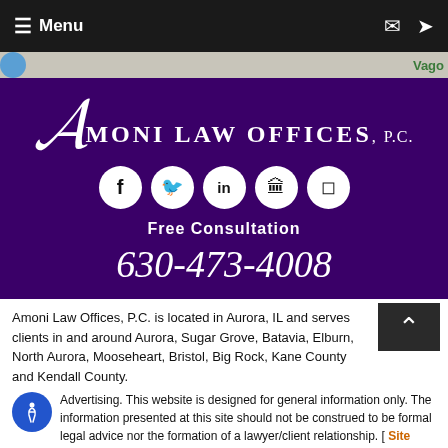≡ Menu
[Figure (screenshot): Map strip with 'Vago' label in green]
Amoni Law Offices, P.C.
[Figure (other): Social media icons: Facebook, Twitter, LinkedIn, Avvo, Google+]
Free Consultation
630-473-4008
Amoni Law Offices, P.C. is located in Aurora, IL and serves clients in and around Aurora, Sugar Grove, Batavia, Elburn, North Aurora, Mooseheart, Bristol, Big Rock, Kane County and Kendall County.
Advertising. This website is designed for general information only. The information presented at this site should not be construed to be formal legal advice nor the formation of a lawyer/client relationship. [ Site Map ]